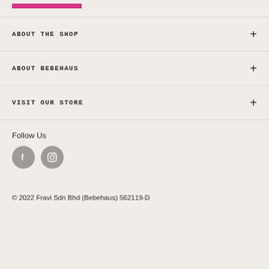[Figure (logo): Pink horizontal bar logo/image at top left]
ABOUT THE SHOP
ABOUT BEBEHAUS
VISIT OUR STORE
Follow Us
[Figure (other): Facebook and Instagram social media icon circles in grey]
© 2022 Fravi Sdn Bhd (Bebehaus) 562119-D